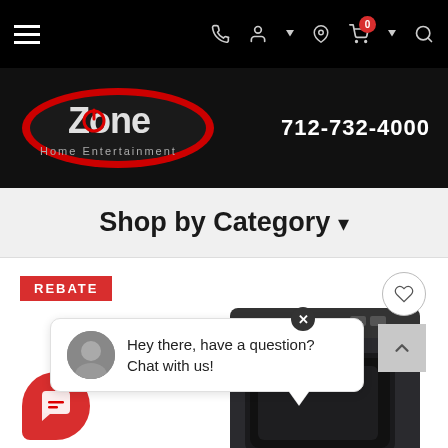[Figure (screenshot): Black navigation bar with hamburger menu icon on left and icons (phone, person, location, cart with 0 badge, search) on right]
[Figure (logo): Zone Home Entertainment logo - red oval with Z and power button symbol, text 'Home Entertainment' below]
712-732-4000
Shop by Category ▾
REBATE
Hey there, have a question? Chat with us!
[Figure (screenshot): Black appliance product (dryer) partially visible in bottom right of content area]